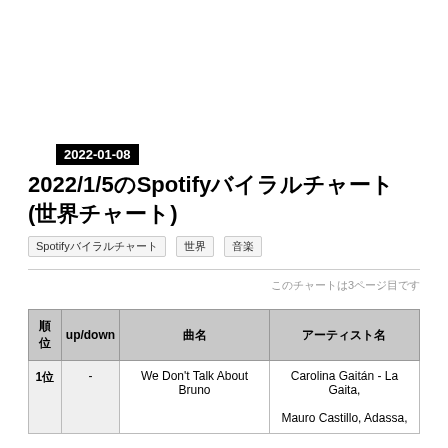2022-01-08
2022/1/5のSpotifyバイラルチャート(世界チャート)
Spotifyバイラルチャート　世界　音楽
このチャートは3ページ目です
| 順位 | up/down | 曲名 | アーティスト名 |
| --- | --- | --- | --- |
| 1位 | - | We Don't Talk About Bruno | Carolina Gaitán - La Gaita,
Mauro Castillo, Adassa, |